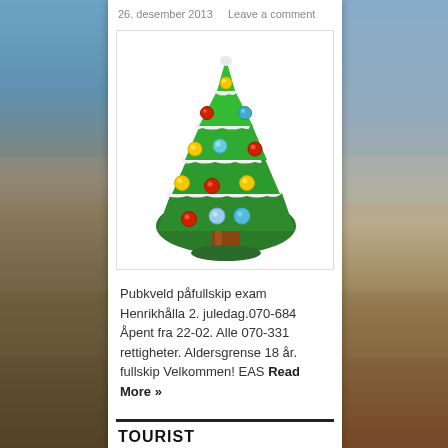26. desember 2013   Leave a comment
[Figure (illustration): A toy/button Christmas tree illustration — green tree with white snow/frosting stripes and colorful ornament balls (red, yellow, blue, cyan) on a brown trunk, against a white background.]
Pubkveld påfullskip exam Henrikhålla 2. juledag.070-684 Åpent fra 22-02. Alle 070-331 rettigheter. Aldersgrense 18 år. fullskip Velkommen! EAS Read More »
TOURIST
[Figure (illustration): UK / British flag icon (Union Jack)]